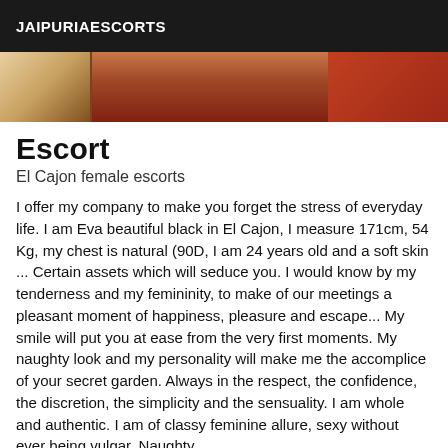JAIPURIAESCORTS
[Figure (photo): Partial photo of a woman, cropped, with warm reddish-brown tones]
Escort
El Cajon female escorts
I offer my company to make you forget the stress of everyday life. I am Eva beautiful black in El Cajon, I measure 171cm, 54 Kg, my chest is natural (90D, I am 24 years old and a soft skin ... Certain assets which will seduce you. I would know by my tenderness and my femininity, to make of our meetings a pleasant moment of happiness, pleasure and escape... My smile will put you at ease from the very first moments. My naughty look and my personality will make me the accomplice of your secret garden. Always in the respect, the confidence, the discretion, the simplicity and the sensuality. I am whole and authentic. I am of classy feminine allure, sexy without ever being vulgar. Naughty,